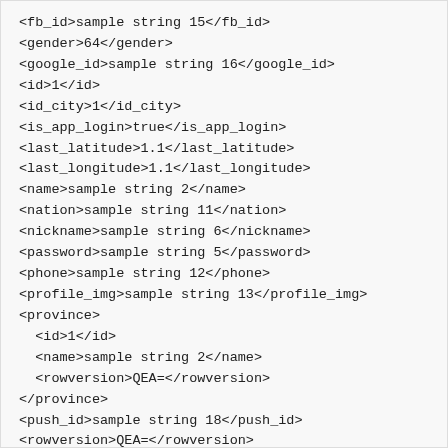<fb_id>sample string 15</fb_id>
<gender>64</gender>
<google_id>sample string 16</google_id>
<id>1</id>
<id_city>1</id_city>
<is_app_login>true</is_app_login>
<last_latitude>1.1</last_latitude>
<last_longitude>1.1</last_longitude>
<name>sample string 2</name>
<nation>sample string 11</nation>
<nickname>sample string 6</nickname>
<password>sample string 5</password>
<phone>sample string 12</phone>
<profile_img>sample string 13</profile_img>
<province>
  <id>1</id>
  <name>sample string 2</name>
  <rowversion>QEA=</rowversion>
</province>
<push_id>sample string 18</push_id>
<rowversion>QEA=</rowversion>
<surname>sample string 3</surname>